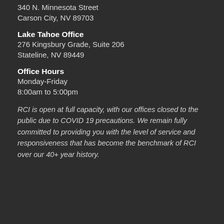340 N. Minnesota Street
Carson City, NV 89703
Lake Tahoe Office
276 Kingsbury Grade, Suite 206
Stateline, NV 89449
Office Hours
Monday-Friday
8:00am to 5:00pm
RCI is open at full capacity, with our offices closed to the public due to COVID 19 precautions. We remain fully committed to providing you with the level of service and responsiveness that has become the benchmark of RCI over our 40+ year history.